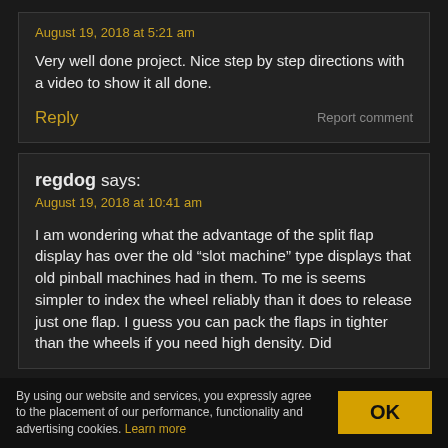August 19, 2018 at 5:21 am
Very well done project. Nice step by step directions with a video to show it all done.
Reply
Report comment
regdog says:
August 19, 2018 at 10:41 am
I am wondering what the advantage of the split flap display has over the old “slot machine” type displays that old pinball machines had in them. To me is seems simpler to index the wheel reliably than it does to release just one flap. I guess you can pack the flaps in tighter than the wheels if you need high density. Did
By using our website and services, you expressly agree to the placement of our performance, functionality and advertising cookies. Learn more
OK